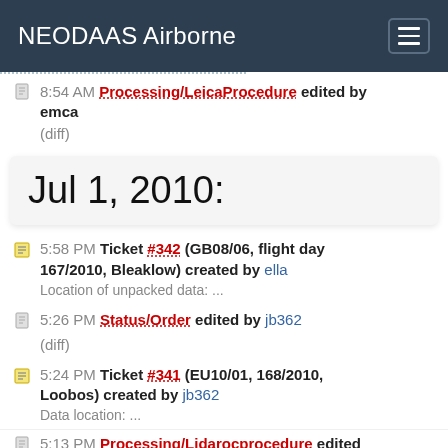NEODAAS Airborne
8:54 AM Processing/LeicaProcedure edited by emca
(diff)
Jul 1, 2010:
5:58 PM Ticket #342 (GB08/06, flight day 167/2010, Bleaklow) created by ella
Location of unpacked data: ...
5:26 PM Status/Order edited by jb362
(diff)
5:24 PM Ticket #341 (EU10/01, 168/2010, Loobos) created by jb362
Data location: ...
5:13 PM Processing/Lidarocprocedure edited